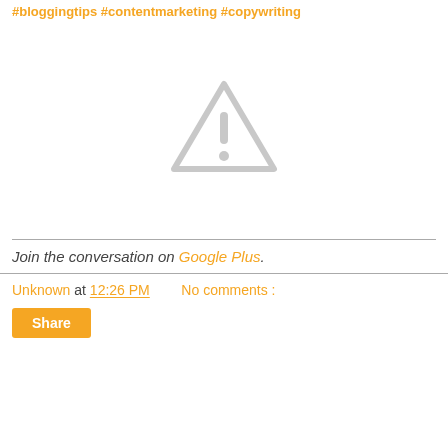#bloggingtips #contentmarketing #copywriting
[Figure (illustration): Warning triangle icon with exclamation mark, light gray color, centered on white background]
Join the conversation on Google Plus.
Unknown at 12:26 PM   No comments :
Share